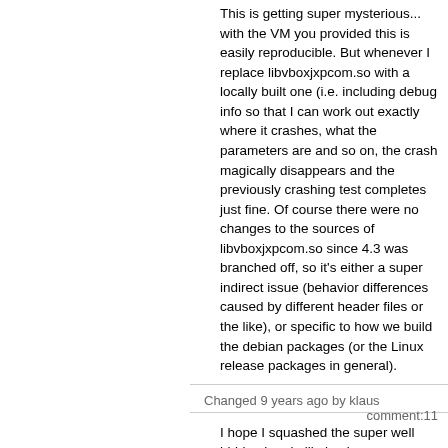This is getting super mysterious... with the VM you provided this is easily reproducible. But whenever I replace libvboxjxpcom.so with a locally built one (i.e. including debug info so that I can work out exactly where it crashes, what the parameters are and so on, the crash magically disappears and the previously crashing test completes just fine. Of course there were no changes to the sources of libvboxjxpcom.so since 4.3 was branched off, so it's either a super indirect issue (behavior differences caused by different header files or the like), or specific to how we build the debian packages (or the Linux release packages in general).
Changed 9 years ago by klaus   comment:11
I hope I squashed the super well hidden bug in libvboxjxpcom.so (why don't compilers warn when there's really fishy code?). The bug is in the base package, NOT in the sdk, so you'll have to wait for updates which rectify this...